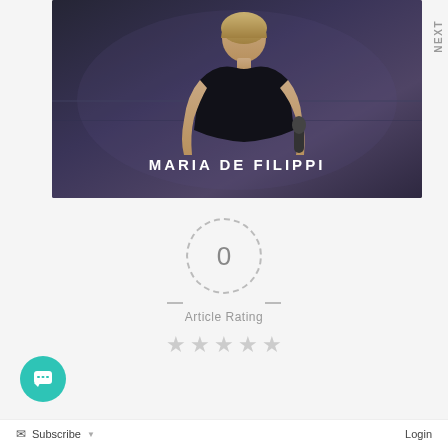[Figure (photo): Screenshot of a webpage showing a woman (Maria De Filippi) in a dark outfit holding a microphone, with 'MARIA DE FILIPPI' text overlay on a dark stage background. A 'NEXT' label appears on the right edge.]
[Figure (infographic): Article rating widget showing a dashed circle with '0' inside, dash lines on either side, 'Article Rating' text below, and five empty/grey star icons.]
Subscribe
Login